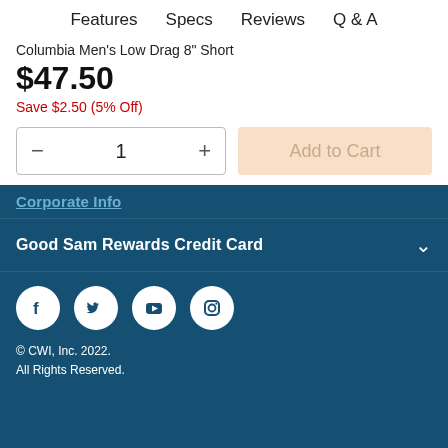Features   Specs   Reviews   Q & A
Columbia Men's Low Drag 8" Short
$47.50
Save $2.50 (5% Off)
1
Add to Cart
Corporate Info
Good Sam Rewards Credit Card
[Figure (other): Social media icons: Facebook, Twitter, YouTube, Instagram]
© CWI, Inc. 2022. All Rights Reserved.